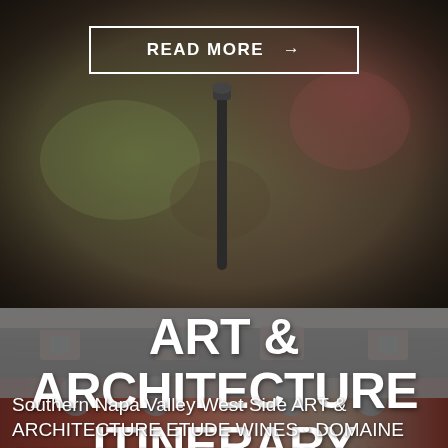[Figure (photo): Blurred photo background showing dark bokeh with warm brown and green tones, with what appears to be a dark metallic object (possibly a wine tool or corkscrew) in the lower center]
READ MORE →
[Figure (photo): Photo of a French-style stone and brick winery building with mansard roof, dormer windows, and arched windows — likely Domaine Carneros or similar Napa Valley winery]
ART & ARCHITECTURE ITINERARY
Southern Napa Valley West Side ART & ARCHITECTURE ETUDE WINES • DOMAINE CARNEROS • THE HESS COLLECTION All